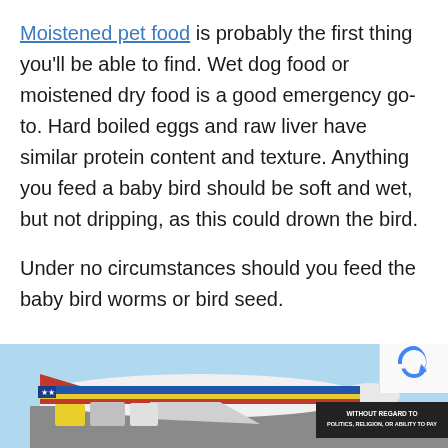Moistened pet food is probably the first thing you'll be able to find. Wet dog food or moistened dry food is a good emergency go-to. Hard boiled eggs and raw liver have similar protein content and texture. Anything you feed a baby bird should be soft and wet, but not dripping, as this could drown the bird.

Under no circumstances should you feed the baby bird worms or bird seed.
[Figure (photo): Advertisement banner showing a cargo airplane (Southwest Airlines livery) being loaded, with a black badge overlay reading 'WITHOUT REGARD TO POLITICS, RELIGION, OR ABILITY TO PAY']